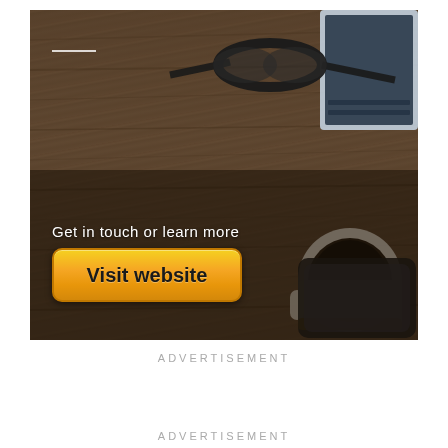[Figure (photo): Advertisement banner showing a wooden desk with glasses, coffee cup, and smartphone. Text overlay reads 'Get in touch or learn more' with a yellow 'Visit website' button.]
ADVERTISEMENT
ADVERTISEMENT